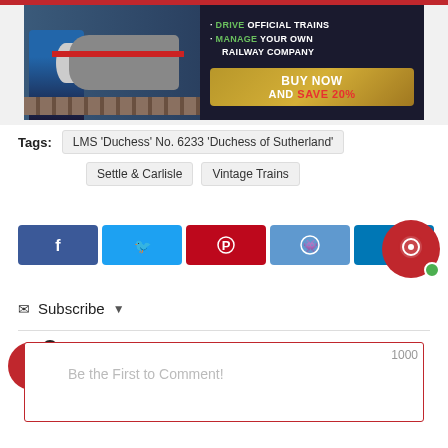[Figure (illustration): Advertisement banner for a train simulator game. Left side shows a man in a suit next to a train on tracks. Right side on dark background shows bullet points: DRIVE OFFICIAL TRAINS, MANAGE YOUR OWN RAILWAY COMPANY, and a gold CTA button: BUY NOW AND SAVE 20%]
Tags: LMS 'Duchess' No. 6233 'Duchess of Sutherland'
Settle & Carlisle   Vintage Trains
[Figure (infographic): Row of 5 social share buttons: Facebook (dark blue), Twitter (light blue), Pinterest (red), Reddit (blue), LinkedIn (blue)]
[Figure (other): Red circular chat/comment icon with green online dot]
✉ Subscribe ▾
Be the First to Comment!
1000